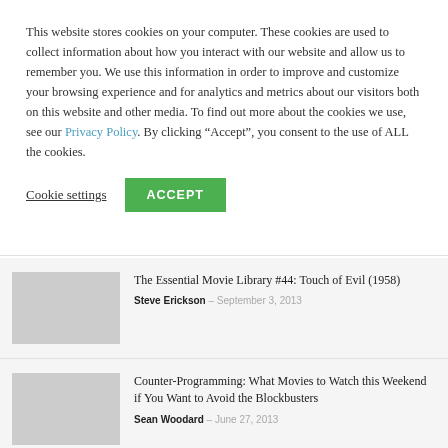This website stores cookies on your computer. These cookies are used to collect information about how you interact with our website and allow us to remember you. We use this information in order to improve and customize your browsing experience and for analytics and metrics about our visitors both on this website and other media. To find out more about the cookies we use, see our Privacy Policy. By clicking “Accept”, you consent to the use of ALL the cookies.
Cookie settings | ACCEPT
The Essential Movie Library #44: Touch of Evil (1958) — Steve Erickson — September 3, 2013
Counter-Programming: What Movies to Watch this Weekend if You Want to Avoid the Blockbusters — Sean Woodard — June 27, 2013